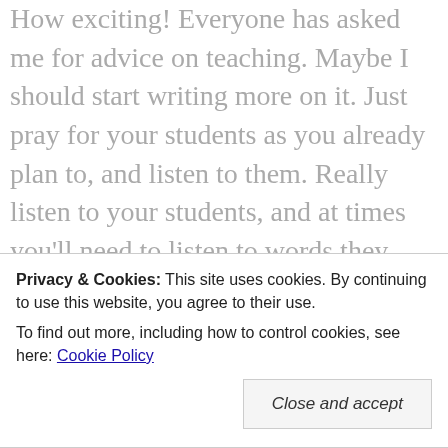How exciting! Everyone has asked me for advice on teaching. Maybe I should start writing more on it. Just pray for your students as you already plan to, and listen to them. Really listen to your students, and at times you'll need to listen to words they aren't even saying, but you can do it. You'll find something in yourself you didn't know existed. Good luck this year. Love on those kids and never be above apologizing when you make a mistake. You WILL make mistakes, and it's okay. The students will respect you so much more when you own up to it. We all need to know boundaries and it...
Privacy & Cookies: This site uses cookies. By continuing to use this website, you agree to their use.
To find out more, including how to control cookies, see here: Cookie Policy